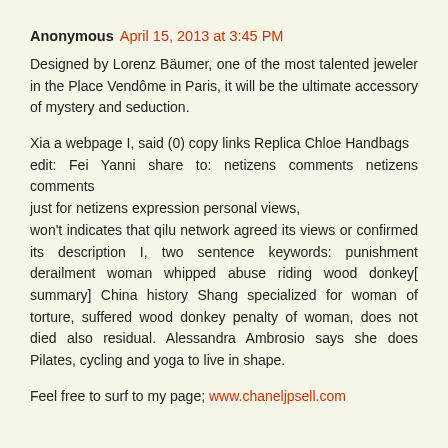Anonymous April 15, 2013 at 3:45 PM
Designed by Lorenz Bäumer, one of the most talented jeweler in the Place Vendôme in Paris, it will be the ultimate accessory of mystery and seduction.
Xia a webpage I, said (0) copy links Replica Chloe Handbags
edit: Fei Yanni share to: netizens comments netizens comments
just for netizens expression personal views,
won't indicates that qilu network agreed its views or confirmed its description I, two sentence keywords: punishment derailment woman whipped abuse riding wood donkey[ summary] China history Shang specialized for woman of torture, suffered wood donkey penalty of woman, does not died also residual. Alessandra Ambrosio says she does Pilates, cycling and yoga to live in shape.
Feel free to surf to my page; www.chaneljpsell.com